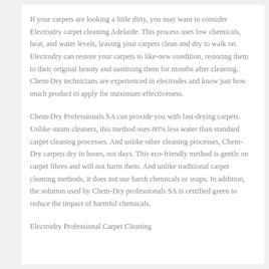If your carpets are looking a little dirty, you may want to consider Electrodry carpet cleaning Adelaide. This process uses low chemicals, heat, and water levels, leaving your carpets clean and dry to walk on. Electrodry can restore your carpets to like-new condition, restoring them to their original beauty and sanitising them for months after cleaning. Chem-Dry technicians are experienced in electrodes and know just how much product to apply for maximum effectiveness.
Chem-Dry Professionals SA can provide you with fast-drying carpets. Unlike steam cleaners, this method uses 80% less water than standard carpet cleaning processes. And unlike other cleaning processes, Chem-Dry carpets dry in hours, not days. This eco-friendly method is gentle on carpet fibres and will not harm them. And unlike traditional carpet cleaning methods, it does not use harsh chemicals or soaps. In addition, the solution used by Chem-Dry professionals SA is certified green to reduce the impact of harmful chemicals.
Electrodry Professional Carpet Cleaning